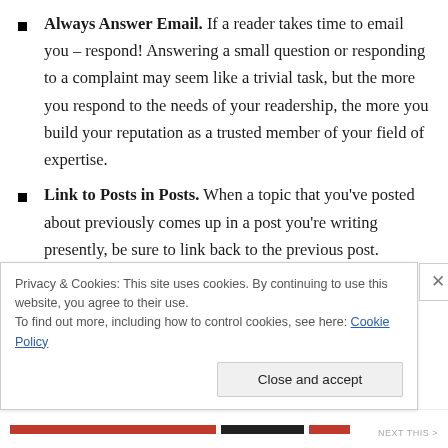Always Answer Email. If a reader takes time to email you – respond! Answering a small question or responding to a complaint may seem like a trivial task, but the more you respond to the needs of your readership, the more you build your reputation as a trusted member of your field of expertise.
Link to Posts in Posts. When a topic that you've posted about previously comes up in a post you're writing presently, be sure to link back to the previous post. Allowing readers easy access to past posts encourages them to cycle back through previously
Privacy & Cookies: This site uses cookies. By continuing to use this website, you agree to their use. To find out more, including how to control cookies, see here: Cookie Policy
Close and accept